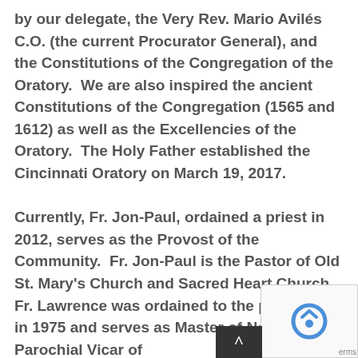by our delegate, the Very Rev. Mario Avilés C.O. (the current Procurator General), and the Constitutions of the Congregation of the Oratory.  We are also inspired the ancient Constitutions of the Congregation (1565 and 1612) as well as the Excellencies of the Oratory.  The Holy Father established the Cincinnati Oratory on March 19, 2017.
Currently, Fr. Jon-Paul, ordained a priest in 2012, serves as the Provost of the Community.  Fr. Jon-Paul is the Pastor of Old St. Mary's Church and Sacred Heart Church.  Fr. Lawrence was ordained to the priesthood in 1975 and serves as Master of Novices and Parochial Vicar of
[Figure (other): reCAPTCHA logo overlay in bottom right corner, with a scroll-to-top button and 'terms' text]